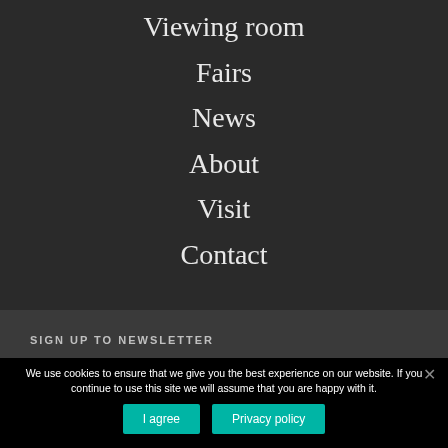Viewing room
Fairs
News
About
Visit
Contact
SIGN UP TO NEWSLETTER
We use cookies to ensure that we give you the best experience on our website. If you continue to use this site we will assume that you are happy with it.
I agree
Privacy policy